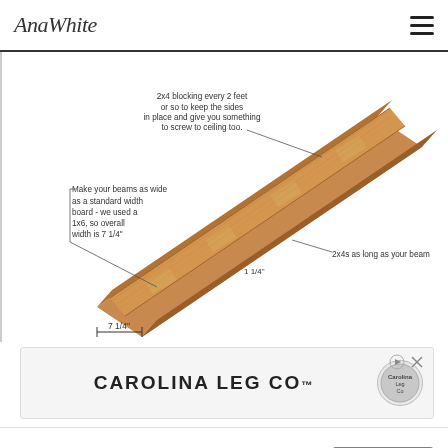AnaWhite
[Figure (illustration): Engineering diagram of a wooden ceiling beam shown in 3D perspective. The beam runs diagonally from bottom-left to top-right. Annotation callouts read: '2x4 blocking every 2 feet or so to keep the sides in place and give you something to screw to ceiling too.' pointing to top section; 'Make your beams as wide as a standard width board - we used a 1x6, so overall width is 7 1/4'' pointing to middle-left; '2x4s as long as your beam' pointing to lower-right; '7 1/4'' dimension labels on width.]
[Figure (advertisement): Carolina Leg Co advertisement banner with logo circle on right, large bold uppercase text 'CAROLINA LEG CO' with trademark symbol, small ad control icons top-right.]
[Figure (advertisement): Bottom ad strip: Carolina Leg Co, Wooden & Metal Table Legs, SHOP NOW blue button, X and play icons bottom-left.]